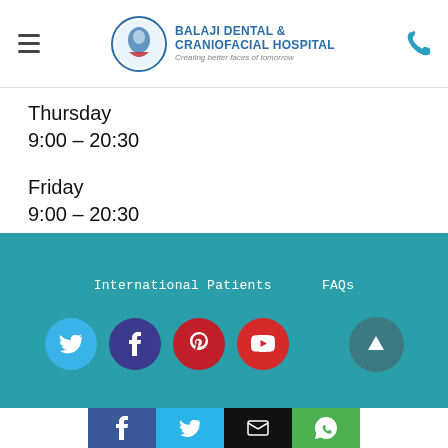Balaji Dental & Craniofacial Hospital - Creating better faces of tomorrow
Thursday
9:00 – 20:30
Friday
9:00 – 20:30
Saturday
9:00 – 20:30
Sunday
9:00 – 13:00
International Patients   FAQs